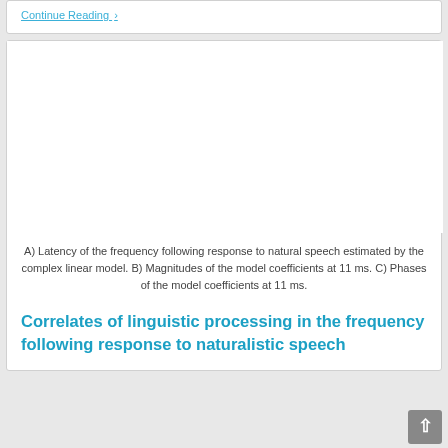Continue Reading ›
[Figure (other): Blank white figure area representing a scientific figure (image not loaded)]
A) Latency of the frequency following response to natural speech estimated by the complex linear model. B) Magnitudes of the model coefficients at 11 ms. C) Phases of the model coefficients at 11 ms.
Correlates of linguistic processing in the frequency following response to naturalistic speech